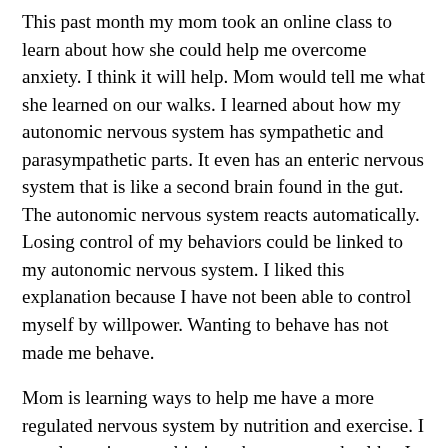This past month my mom took an online class to learn about how she could help me overcome anxiety. I think it will help. Mom would tell me what she learned on our walks. I learned about how my autonomic nervous system has sympathetic and parasympathetic parts. It even has an enteric nervous system that is like a second brain found in the gut. The autonomic nervous system reacts automatically. Losing control of my behaviors could be linked to my autonomic nervous system. I liked this explanation because I have not been able to control myself by willpower. Wanting to behave has not made me behave.
Mom is learning ways to help me have a more regulated nervous system by nutrition and exercise. I am also trying a probiotic to keep my gut healthy. I have had stomachaches for many years. Maybe it is related to my anxiety.
This summer my goal is to get my anxiety under control. I